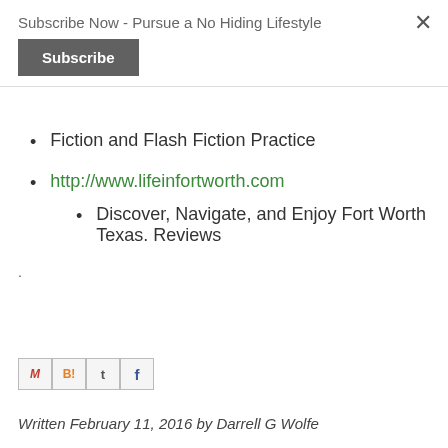Subscribe Now - Pursue a No Hiding Lifestyle
Subscribe
Fiction and Flash Fiction Practice
http://www.lifeinfortworth.com
Discover, Navigate, and Enjoy Fort Worth Texas. Reviews
.
.
Written February 11, 2016 by Darrell G Wolfe